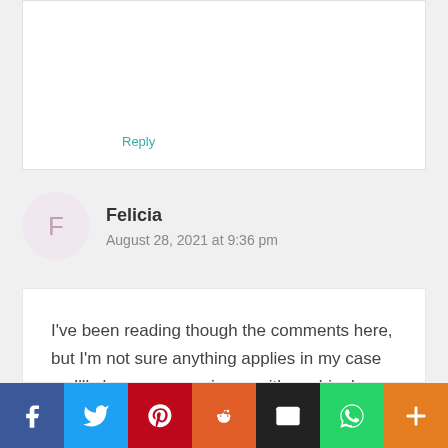Reply
Felicia
August 28, 2021 at 9:36 pm
I've been reading though the comments here, but I'm not sure anything applies in my case so I'll share my experience with my bipolar kitty. It all started when she was about 12 weeks old. I
[Figure (infographic): Social share bar with icons for Facebook (blue), Twitter (light blue), Pinterest (red), Reddit (orange), Email (black), WhatsApp (green), More/Plus (orange)]